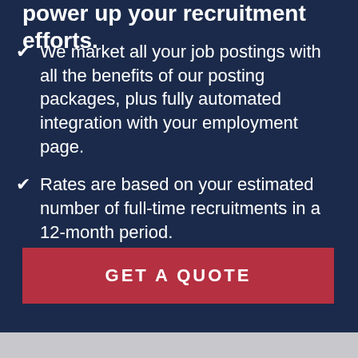power up your recruitment efforts.
We market all your job postings with all the benefits of our posting packages, plus fully automated integration with your employment page.
Rates are based on your estimated number of full-time recruitments in a 12-month period.
GET A QUOTE